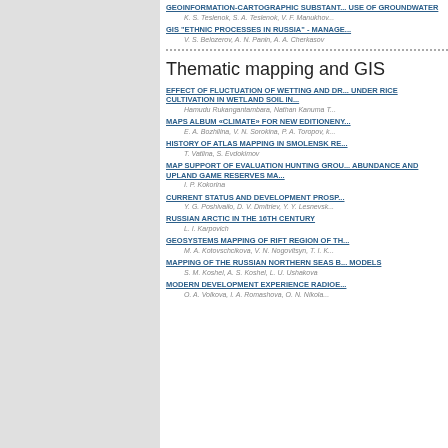GEOINFORMATION-CARTOGRAPHIC SUBSTANTIATION OF RATIONAL USE OF GROUNDWATER
K. S. Teslenok, S. A. Teslenok, V. F. Manukho...
GIS "ETHNIC PROCESSES IN RUSSIA" - MANAGEMENT...
V. S. Belozerov, A. N. Panin, A. A. Cherkasov
Thematic mapping and GIS
EFFECT OF FLUCTUATION OF WETTING AND DRYING UNDER RICE CULTIVATION IN WETLAND SOIL IN...
Hamudu Rukangantambara, Nathan Kanuma T...
MAPS ALBUM «CLIMATE» FOR NEW EDITIONENY...
E. A. Bozhilina, V. N. Sorokina, P. A. Toropov, k...
HISTORY OF ATLAS MAPPING IN SMOLENSK RE...
T. Vatlina, S. Evdokimov
MAP SUPPORT OF EVALUATION HUNTING GROUP ABUNDANCE AND UPLAND GAME RESERVES MA...
I. P. Kokorina
CURRENT STATUS AND DEVELOPMENT PROSP...
Y. G. Poshivailo, D. V. Dmitriev, Y. Y. Lesnevsk...
RUSSIAN ARCTIC IN THE 16TH CENTURY
L. I. Karpovich
GEOSYSTEMS MAPPING OF RIFT REGION OF TH...
M. A. Kotovschcikova, V. N. Nogovitsyn, T. I. K...
MAPPING OF THE RUSSIAN NORTHERN SEAS B... MODELS
S. M. Koshel, A. S. Koshel, L. U. Ushakova
MODERN DEVELOPMENT EXPERIENCE RADIOE...
O. A. Volkova, I. A. Romashova, O. N. Nikola...